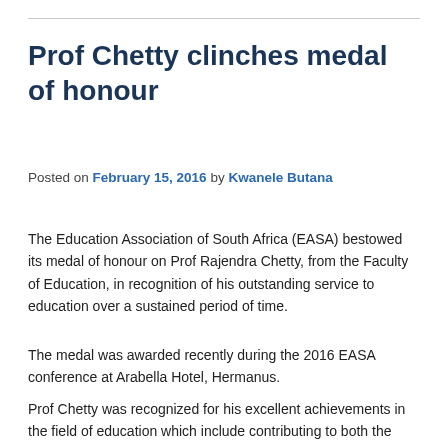Prof Chetty clinches medal of honour
Posted on February 15, 2016 by Kwanele Butana
The Education Association of South Africa (EASA) bestowed its medal of honour on Prof Rajendra Chetty, from the Faculty of Education, in recognition of his outstanding service to education over a sustained period of time.
The medal was awarded recently during the 2016 EASA conference at Arabella Hotel, Hermanus.
Prof Chetty was recognized for his excellent achievements in the field of education which include contributing to both the theory and practice of education as well as for service of outstanding quality and